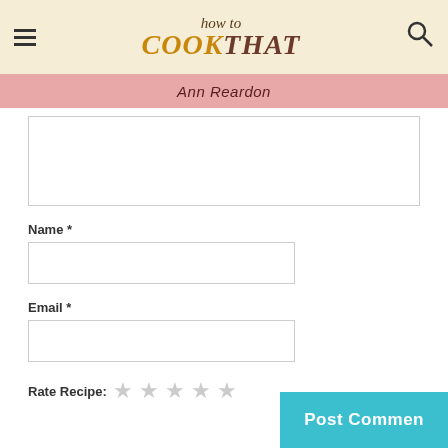how to COOKTHAT Ann Reardon
Name *
Email *
Rate Recipe: ☆☆☆☆☆
Post Comment